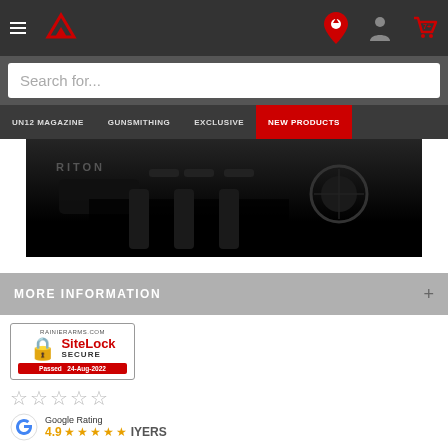Rainier Arms website header with navigation: hamburger menu, logo, location pin, account icon, cart icon
Search for...
UN12 MAGAZINE | GUNSMITHING | EXCLUSIVE | NEW PRODUCTS
[Figure (photo): Dark product photo showing Riton branded optics/scopes against black background]
MORE INFORMATION
[Figure (other): SiteLock Secure badge for RAINIERARMS.COM, Passed 24-Aug-2022]
[Figure (other): Five empty star rating icons]
Google Rating 4.9 ★★★★★ REVIEWS